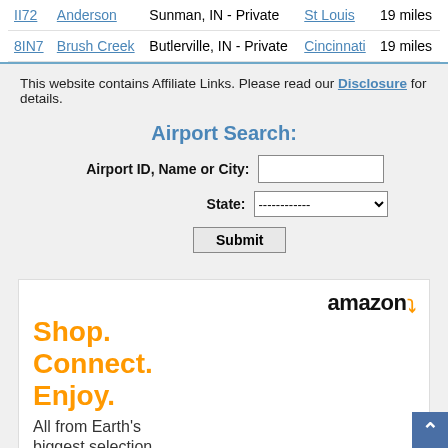| ID | Name | Location | Nearest City | Distance |
| --- | --- | --- | --- | --- |
| II72 | Anderson | Sunman, IN - Private | St Louis | 19 miles |
| 8IN7 | Brush Creek | Butlerville, IN - Private | Cincinnati | 19 miles |
This website contains Affiliate Links. Please read our Disclosure for details.
Airport Search:
[Figure (other): Airport search form with fields for Airport ID/Name/City, State dropdown, and Submit button]
[Figure (other): Amazon advertisement: Shop. Connect. Enjoy. All from Earth's biggest selection]